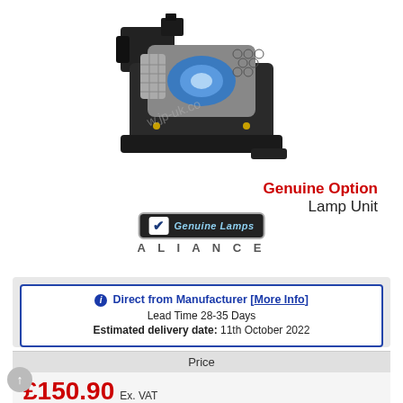[Figure (photo): Projector lamp unit module with black plastic housing and blue lamp bulb, with watermark text 'w.jp-uk.co']
Genuine Option
Lamp Unit
[Figure (logo): Genuine Lamps Alliance badge - black rounded rectangle with checkmark and 'Genuine Lamps' text, with 'ALLIANCE' text below in spaced grey letters]
Direct from Manufacturer [More Info]
Lead Time 28-35 Days
Estimated delivery date: 11th October 2022
| Price |
| --- |
| £150.90 Ex. VAT |